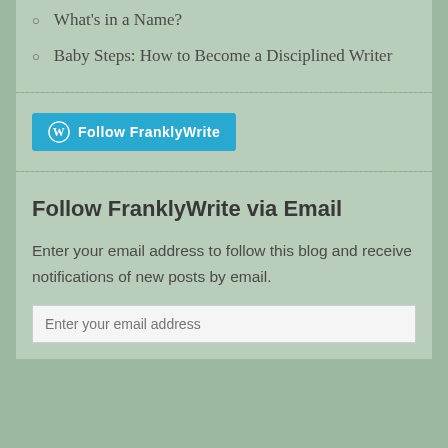What's in a Name?
Baby Steps: How to Become a Disciplined Writer
[Figure (other): WordPress Follow FranklyWrite button in blue]
Follow FranklyWrite via Email
Enter your email address to follow this blog and receive notifications of new posts by email.